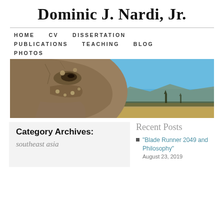Dominic J. Nardi, Jr.
HOME   CV   DISSERTATION   PUBLICATIONS   TEACHING   BLOG   PHOTOS
[Figure (photo): Close-up of a large stone face/statue (likely Southeast Asian, e.g. Khmer or Bagan) in profile against a blue sky with distant mountains and landscape.]
Category Archives:
southeast asia
Recent Posts
“Blade Runner 2049 and Philosophy”
August 23, 2019